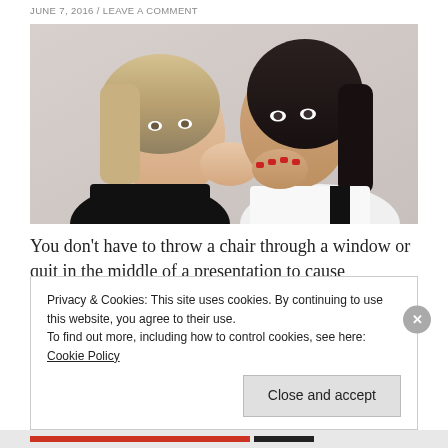JUNE 7, 2016 / LEAVE A COMMENT
[Figure (photo): Two young women, one whispering into the other's ear. The listener looks shocked, covering her mouth with her hand with red nails.]
You don't have to throw a chair through a window or quit in the middle of a presentation to cause irreparable
Privacy & Cookies: This site uses cookies. By continuing to use this website, you agree to their use.
To find out more, including how to control cookies, see here: Cookie Policy

Close and accept